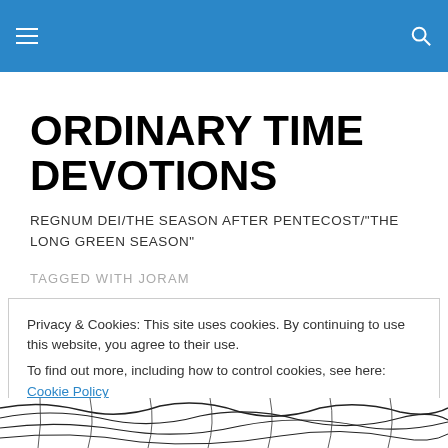ORDINARY TIME DEVOTIONS
REGNUM DEI/THE SEASON AFTER PENTECOST/"THE LONG GREEN SEASON"
TAGGED WITH JORAM
Privacy & Cookies: This site uses cookies. By continuing to use this website, you agree to their use.
To find out more, including how to control cookies, see here: Cookie Policy
[Figure (illustration): Woodcut-style black and white illustration visible at the bottom of the page]